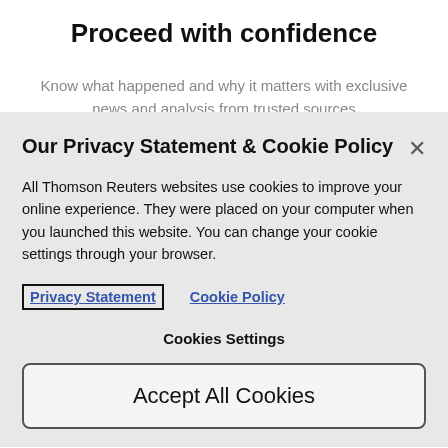Proceed with confidence
Know what happened and why it matters with exclusive news and analysis from trusted sources
Our Privacy Statement & Cookie Policy
All Thomson Reuters websites use cookies to improve your online experience. They were placed on your computer when you launched this website. You can change your cookie settings through your browser.
Privacy Statement   Cookie Policy
Cookies Settings
Accept All Cookies